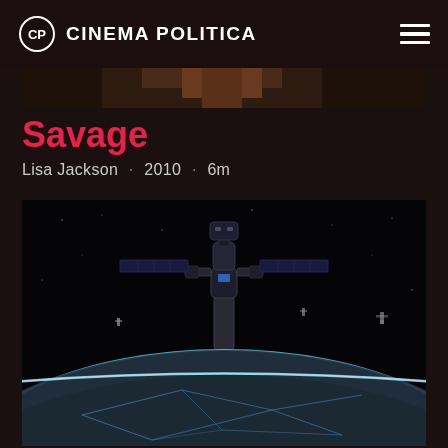CINEMA POLITICA
[Figure (screenshot): Partial top edge of a film thumbnail image, very dark brownish]
Savage
Lisa Jackson · 2010 · 6m
[Figure (photo): Space scene showing a robot/satellite in orbit above Earth, with a glowing blue horizon line and network lines visible on the surface below. Dark space background with small distant spacecraft.]